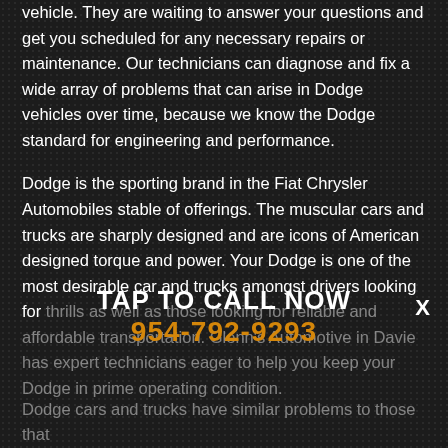vehicle. They are waiting to answer your questions and get you scheduled for any necessary repairs or maintenance. Our technicians can diagnose and fix a wide array of problems that can arise in Dodge vehicles over time, because we know the Dodge standard for engineering and performance.
Dodge is the sporting brand in the Fiat Chrysler Automobiles stable of offerings. The muscular cars and trucks are sharply designed and are icons of American designed torque and power. Your Dodge is one of the most desirable car and trucks amongst drivers looking for thrills as well as those looking for reliable and affordable transportation. Glenn's Automotive in Davie has expert technicians eager to help you keep your Dodge in prime operating condition.
TAP TO CALL NOW
954-792-9293
Dodge cars and trucks have similar problems to those that